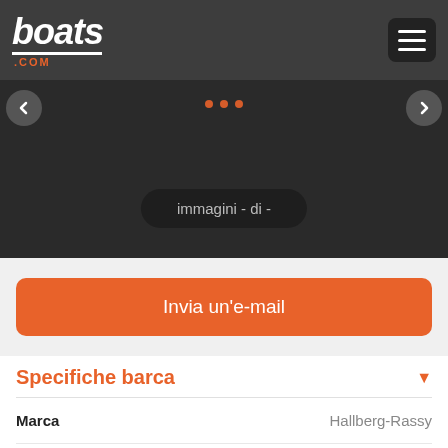boats.com
[Figure (screenshot): Dark image area with navigation arrows, orange dot indicators, and a pill-shaped label reading 'immagini - di -']
Invia un'e-mail
Specifiche barca
| Campo | Valore |
| --- | --- |
| Marca | Hallberg-Rassy |
| Modello | HR 49 Sloop Hardtop |